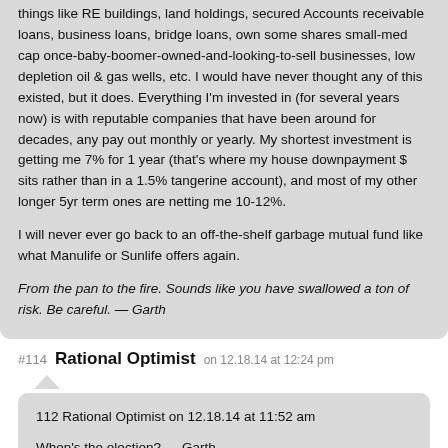things like RE buildings, land holdings, secured Accounts receivable loans, business loans, bridge loans, own some shares small-med cap once-baby-boomer-owned-and-looking-to-sell businesses, low depletion oil & gas wells, etc. I would have never thought any of this existed, but it does. Everything I'm invested in (for several years now) is with reputable companies that have been around for decades, any pay out monthly or yearly. My shortest investment is getting me 7% for 1 year (that's where my house downpayment $ sits rather than in a 1.5% tangerine account), and most of my other longer 5yr term ones are netting me 10-12%.
I will never ever go back to an off-the-shelf garbage mutual fund like what Manulife or Sunlife offers again.
From the pan to the fire. Sounds like you have swallowed a ton of risk. Be careful. — Garth
#114  Rational Optimist  on 12.18.14 at 12:24 pm
112 Rational Optimist on 12.18.14 at 11:52 am
When's the election? — Garth